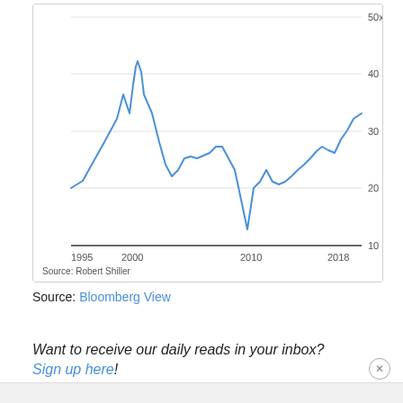[Figure (continuous-plot): Line chart showing Shiller CAPE ratio from 1995 to 2018. The line starts around 20x in 1995, rises sharply to a peak near 44x around 2000, falls to around 20x by 2003, recovers to ~27x in 2007, drops sharply to ~13x in 2009, then rises steadily to ~33x by 2018. Y-axis labels: 10, 20, 30, 40, 50x. X-axis labels: 1995, 2000, 2010, 2018.]
Source: Robert Shiller
Source: Bloomberg View
Want to receive our daily reads in your inbox? Sign up here!